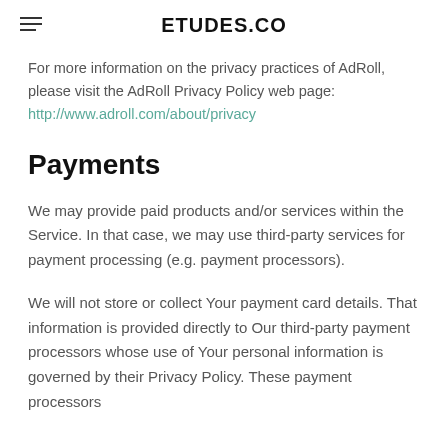ETUDES.CO
For more information on the privacy practices of AdRoll, please visit the AdRoll Privacy Policy web page: http://www.adroll.com/about/privacy
Payments
We may provide paid products and/or services within the Service. In that case, we may use third-party services for payment processing (e.g. payment processors).
We will not store or collect Your payment card details. That information is provided directly to Our third-party payment processors whose use of Your personal information is governed by their Privacy Policy. These payment processors